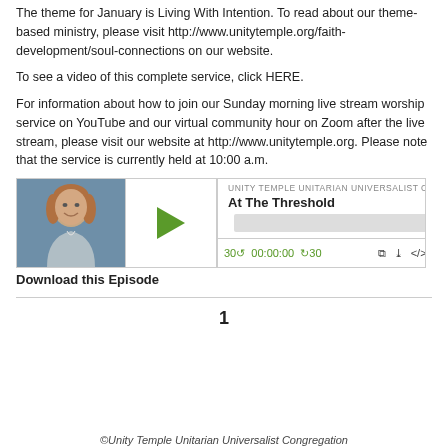The theme for January is Living With Intention. To read about our theme-based ministry, please visit http://www.unitytemple.org/faith-development/soul-connections on our website.
To see a video of this complete service, click HERE.
For information about how to join our Sunday morning live stream worship service on YouTube and our virtual community hour on Zoom after the live stream, please visit our website at http://www.unitytemple.org. Please note that the service is currently held at 10:00 a.m.
[Figure (screenshot): Podcast player widget showing a photo of a woman, a green play button, the title 'At The Threshold', congregation name 'UNITY TEMPLE UNITARIAN UNIVERSALIST CONGREGATION', a progress bar, and playback controls showing 30-second skip, 00:00:00 timer, RSS, download, embed, and share icons.]
Download this Episode
1
©Unity Temple Unitarian Universalist Congregation